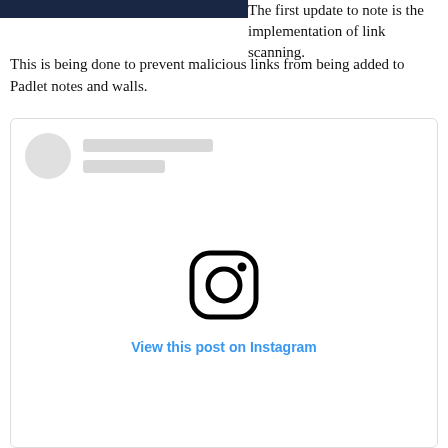[Figure (screenshot): Dark navy blue header image bar at top left]
The first update to note is the implementation of link scanning. This is being done to prevent malicious links from being added to Padlet notes and walls.
[Figure (screenshot): Instagram embed widget showing a loading/placeholder state with avatar, name placeholder bars, Instagram logo icon, and a 'View this post on Instagram' link]